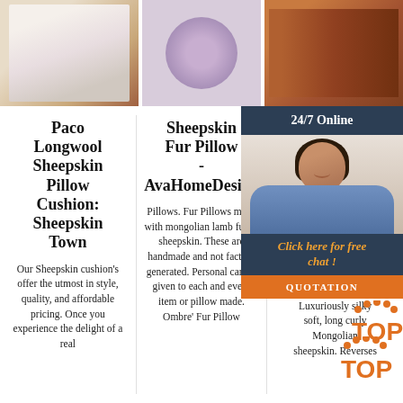[Figure (photo): Three product photos in a row: left shows a white sheepskin pillow on a tan leather sofa, center shows a round lavender/purple fluffy fur pillow on white background, right shows a dark fur throw on a tan leather sofa.]
Paco Longwool Sheepskin Pillow Cushion: Sheepskin Town
Our Sheepskin cushion's offer the utmost in style, quality, and affordable pricing. Once you experience the delight of a real
Sheepskin Fur Pillow - AvaHomeDesign
Pillows. Fur Pillows made with mongolian lamb fur or sheepskin. These are handmade and not factory generated. Personal care is given to each and every item or pillow made. Ombre' Fur Pillow
D O Mo P Cu
Gorge from o white pillow insert included. Luxuriously silky soft, long curly Mongolian sheepskin. Reverses
[Figure (photo): Customer service chat widget overlay: dark navy header with '24/7 Online', photo of smiling female agent with headset, orange italic text 'Click here for free chat!', orange 'QUOTATION' button. Also shows orange TOP logo with dot arc.]